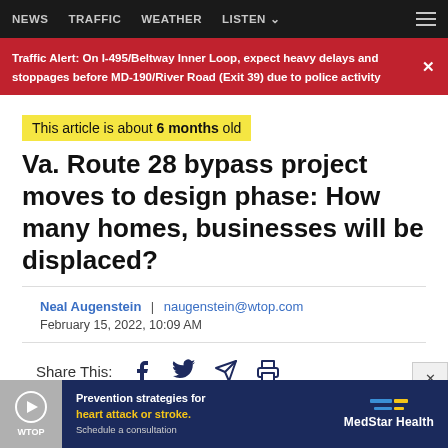NEWS  TRAFFIC  WEATHER  LISTEN
Traffic Alert: On I-495/Beltway Inner Loop, expect heavy delays and stoppages before MD-190/River Road (Exit 39) due to police activity
This article is about 6 months old
Va. Route 28 bypass project moves to design phase: How many homes, businesses will be displaced?
Neal Augenstein | naugenstein@wtop.com
February 15, 2022, 10:09 AM
Share This:
[Figure (screenshot): Ad banner for MedStar Health: Prevention strategies for heart attack or stroke. Schedule a consultation.]